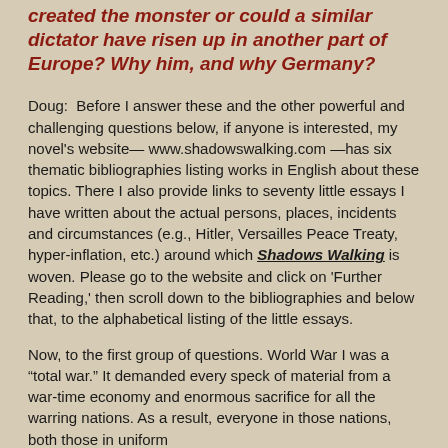created the monster or could a similar dictator have risen up in another part of Europe? Why him, and why Germany?
Doug:  Before I answer these and the other powerful and challenging questions below, if anyone is interested, my novel's website— www.shadowswalking.com —has six thematic bibliographies listing works in English about these topics. There I also provide links to seventy little essays I have written about the actual persons, places, incidents and circumstances (e.g., Hitler, Versailles Peace Treaty, hyper-inflation, etc.) around which Shadows Walking is woven. Please go to the website and click on 'Further Reading,' then scroll down to the bibliographies and below that, to the alphabetical listing of the little essays.
Now, to the first group of questions. World War I was a “total war.” It demanded every speck of material from a war-time economy and enormous sacrifice for all the warring nations. As a result, everyone in those nations, both those in uniform